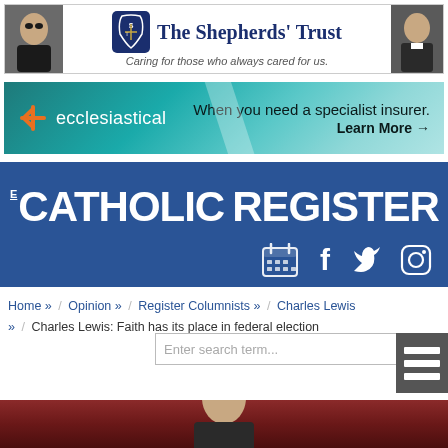[Figure (photo): The Shepherds' Trust advertisement banner with two priests' faces on either side and logo in center. Text: 'The Shepherds' Trust — Caring for those who always cared for us.']
[Figure (logo): Ecclesiastical insurance advertisement. Orange asterisk logo, teal gradient background. Text: 'ecclesiastical — When you need a specialist insurer. Learn More →']
[Figure (logo): The Catholic Register website header banner, blue background, white text logo, SINCE 1893 badge, social media icons (calendar, Facebook, Twitter, Instagram)]
Home » / Opinion » / Register Columnists » / Charles Lewis » / Charles Lewis: Faith has its place in federal election
Enter search term...
[Figure (photo): Partial photo of a person, dark red/brown curtain background visible at bottom of page]